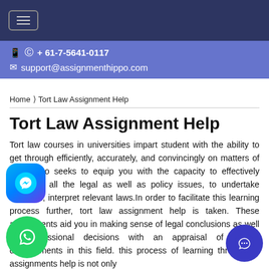≡ (hamburger menu navigation bar)
📱 🅦 + 61-7-5641-0117
✉ support@assignmenthippo.com
Home › Tort Law Assignment Help
Tort Law Assignment Help
Tort law courses in universities impart student with the ability to get through efficiently, accurately, and convincingly on matters of tort.It also seeks to equip you with the capacity to effectively articulate all the legal as well as policy issues, to undertake research, interpret relevant laws.In order to facilitate this learning process further, tort law assignment help is taken. These assignments aid you in making sense of legal conclusions as well as professional decisions with an appraisal of current developments in this field. this process of learning throughlaw assignments help is not only